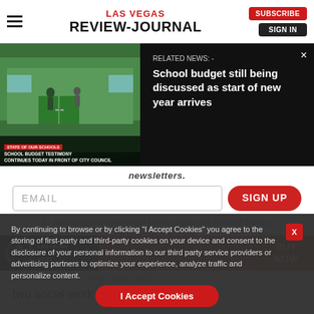Las Vegas Review-Journal
[Figure (screenshot): Video thumbnail showing school building with green doors and overlay text about school budget testimony]
RELATED NEWS: - School budget still being discussed as start of new year arrives
newsletters.
EMAIL
SIGN UP
By signing up you agree to our Privacy Policy and Terms of Service. Unsubscribe at any time.
A Washoe County that will pay for additional help who will two social workers and other safety
By continuing to browse or by clicking “I Accept Cookies” you agree to the storing of first-party and third-party cookies on your device and consent to the disclosure of your personal information to our third party service providers or advertising partners to optimize your experience, analyze traffic and personalize content.
I Accept Cookies
[Figure (logo): Las Vegas Golden Knights ad banner with BUY NOW button]